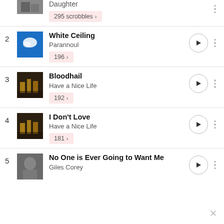Daughter — 295 scrobbles
2. White Ceiling — Parannoul — 196 scrobbles
3. Bloodhail — Have a Nice Life — 192 scrobbles
4. I Don't Love — Have a Nice Life — 181 scrobbles
5. No One is Ever Going to Want Me — Giles Corey